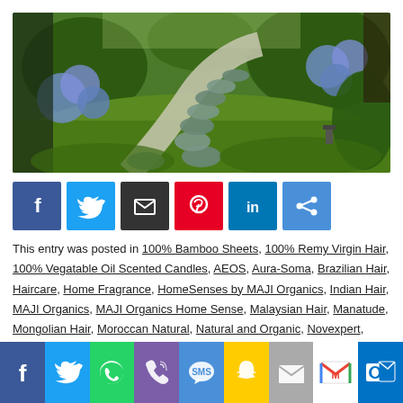[Figure (photo): Japanese garden with stepping stone path winding through green moss and gravel, with blue hydrangea flowers and bamboo fencing in background]
[Figure (infographic): Social share buttons row: Facebook (blue), Twitter (light blue), Email (dark), Pinterest (red), LinkedIn (blue), Share (blue)]
This entry was posted in 100% Bamboo Sheets, 100% Remy Virgin Hair, 100% Vegatable Oil Scented Candles, AEOS, Aura-Soma, Brazilian Hair, Haircare, Home Fragrance, HomeSenses by MAJI Organics, Indian Hair, MAJI Organics, MAJI Organics Home Sense, Malaysian Hair, Manatude, Mongolian Hair, Moroccan Natural, Natural and Organic, Novexpert, Odyssee Des Sens, Pegasus,
[Figure (infographic): Mobile social share bar at bottom: Facebook, Twitter, WhatsApp, Phone, SMS, Snapchat, Email, Gmail, Outlook]